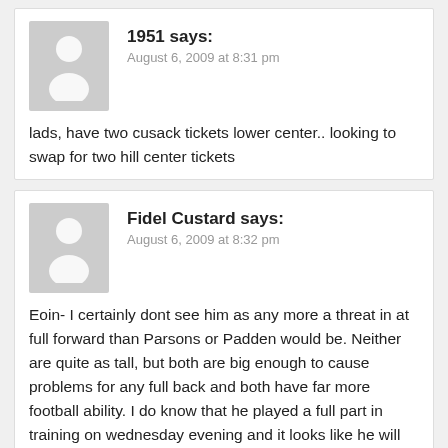1951 says:
August 6, 2009 at 8:31 pm
lads, have two cusack tickets lower center.. looking to swap for two hill center tickets
Fidel Custard says:
August 6, 2009 at 8:32 pm
Eoin- I certainly dont see him as any more a threat in at full forward than Parsons or Padden would be. Neither are quite as tall, but both are big enough to cause problems for any full back and both have far more football ability. I do know that he played a full part in training on wednesday evening and it looks like he will start. Elverys are the team sponsors, and they are also originally a castlebar based company and I am certain they would like the county town to be represented.